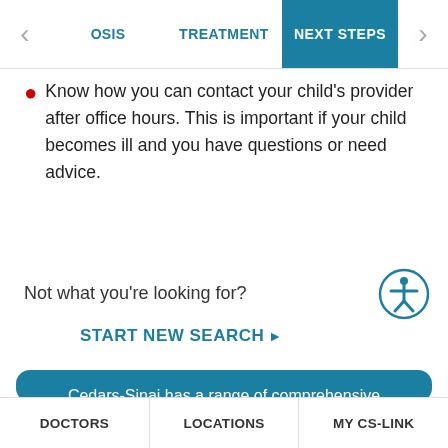OSIS | TREATMENT | NEXT STEPS
If your child has a follow-up appointment, write
Know how you can contact your child's provider after office hours. This is important if your child becomes ill and you have questions or need advice.
Not what you're looking for?
START NEW SEARCH▶
Want More Information?
Cedars-Sinai has a range of comprehensive treatment options.
DOCTORS | LOCATIONS | MY CS-LINK